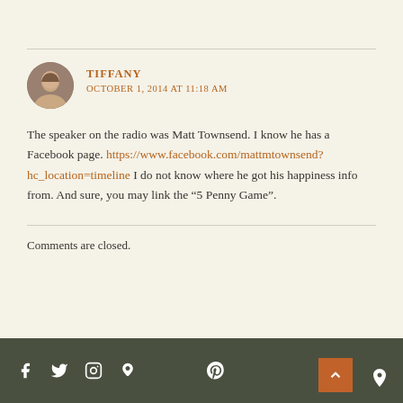TIFFANY
OCTOBER 1, 2014 AT 11:18 AM
The speaker on the radio was Matt Townsend. I know he has a Facebook page. https://www.facebook.com/mattmtownsend?hc_location=timeline I do not know where he got his happiness info from. And sure, you may link the “5 Penny Game”.
Comments are closed.